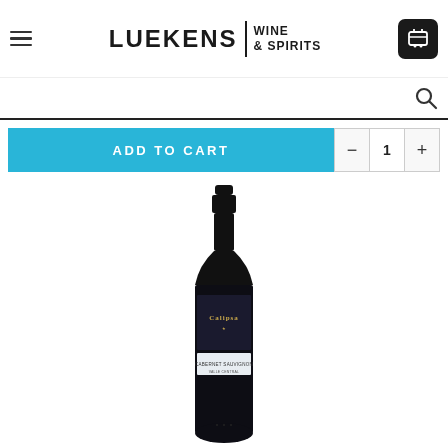[Figure (logo): Luekens Wine & Spirits logo with hamburger menu icon on left and shopping cart button on right]
[Figure (screenshot): Search bar with magnifying glass icon and bottom border underline]
[Figure (screenshot): Add to Cart button in cyan/blue with quantity selector showing minus, 1, plus controls]
[Figure (photo): Wine bottle with dark glass, black label reading Calipsa, white accent label, on white background]